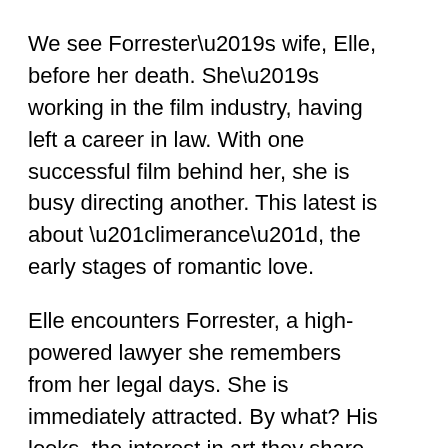We see Forrester’s wife, Elle, before her death. She’s working in the film industry, having left a career in law. With one successful film behind her, she is busy directing another. This latest is about “limerance”, the early stages of romantic love.
Elle encounters Forrester, a high-powered lawyer she remembers from her legal days. She is immediately attracted. By what? His looks, the interest in art they share. Certainly not his sociability, as he proves indifferent to her friends. As they begin their relationship, she experiences an almost delusional infatuation – the “limerance” of her film’s title – which leads her to ignore warning signs that the relationship isn’t healthy.
Unknown to Elle, Forrester’s marriage has disintegrated, leaving his new partner in a precarious position.